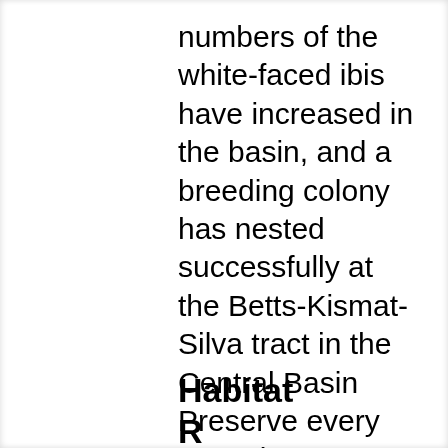numbers of the white-faced ibis have increased in the basin, and a breeding colony has nested successfully at the Betts-Kismat-Silva tract in the Central Basin Preserve every year since 2007. In 2010, approximately 2,500 pairs of ibises were recorded nesting at this site.
Habitat Requirements